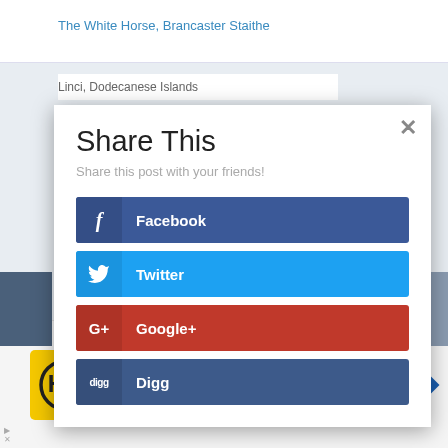The White Horse, Brancaster Staithe
Linci, Dodecanese Islands
Share This
Share this post with your friends!
Facebook
Twitter
Google+
Digg
View store hours, get directions, or call your salon!